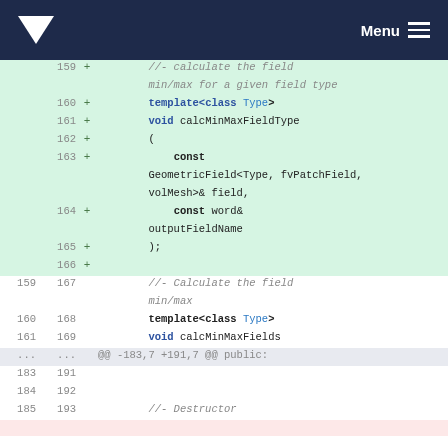Menu
[Figure (screenshot): Code diff view showing added lines (green background) and context lines for a C++ header file. Added lines 159-166 show template<class Type> void calcMinMaxFieldType function declaration. Context lines 159-169 and 183-193 show surrounding code including calcMinMaxFields and Destructor comment.]